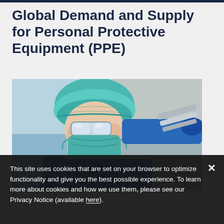Global Demand and Supply for Personal Protective Equipment (PPE)
[Figure (photo): Healthcare worker wearing teal surgical cap, protective goggles, face mask, blue gloves, and blue gown, holding a medical light or equipment handle. Background is blurred outdoor/indoor scene.]
This site uses cookies that are set on your browser to optimize functionality and give you the best possible experience. To learn more about cookies and how we use them, please see our Privacy Notice (available here).